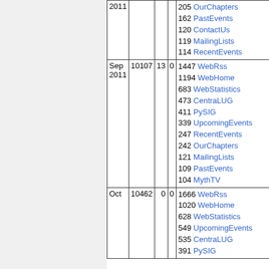| Month | Visits | Pages | Hits | Top Pages |
| --- | --- | --- | --- | --- |
| 2011 (cont) |  |  |  | 205 OurChapters
162 PastEvents
120 ContactUs
119 MailingLists
114 RecentEvents |
| Sep 2011 | 10107 | 13 | 0 | 1447 WebRss
1194 WebHome
683 WebStatistics
473 CentraLUG
411 PySIG
339 UpcomingEvents
247 RecentEvents
242 OurChapters
121 MailingLists
109 PastEvents
104 MythTV |
| Oct | 10462 | 0 | 0 | 1666 WebRss
1020 WebHome
628 WebStatistics
549 UpcomingEvents
535 CentraLUG
391 PySIG |